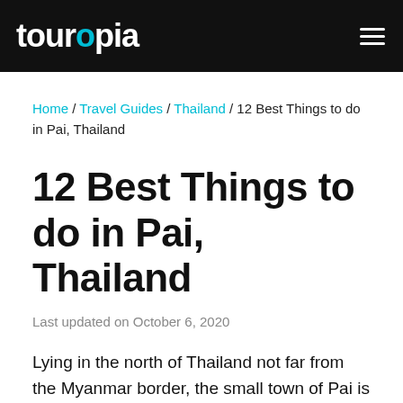touropia
Home / Travel Guides / Thailand / 12 Best Things to do in Pai, Thailand
12 Best Things to do in Pai, Thailand
Last updated on October 6, 2020
Lying in the north of Thailand not far from the Myanmar border, the small town of Pai is a very popular haunt among both backpackers and hippies.